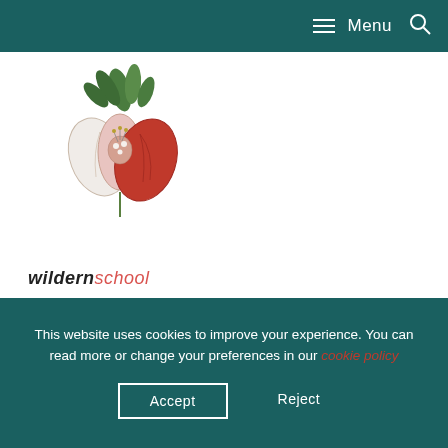Menu
[Figure (logo): Wildern School logo: a stylized flower with green leaves, white and red petals, above text reading 'wildernschool']
This website uses cookies to improve your experience. You can read more or change your preferences in our cookie policy
Accept
Reject